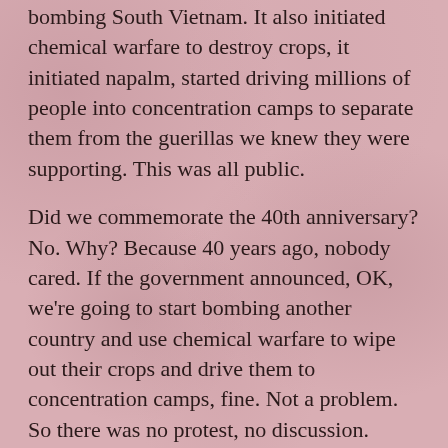bombing South Vietnam. It also initiated chemical warfare to destroy crops, it initiated napalm, started driving millions of people into concentration camps to separate them from the guerillas we knew they were supporting. This was all public.
Did we commemorate the 40th anniversary? No. Why? Because 40 years ago, nobody cared. If the government announced, OK, we're going to start bombing another country and use chemical warfare to wipe out their crops and drive them to concentration camps, fine. Not a problem. So there was no protest, no discussion.
ES: And now there's more protest and discussion.
Chomsky: Yes, because the country has gotten more civilized. No U.S. president today or for the last 20